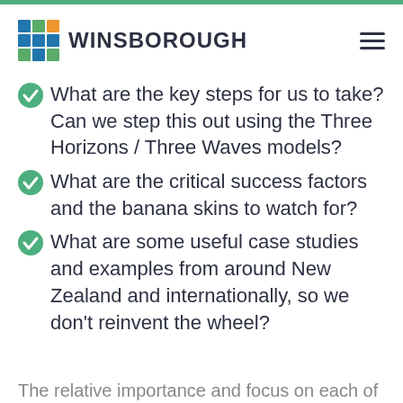[Figure (logo): Winsborough logo with colorful 3x3 grid of squares and company name]
What are the key steps for us to take? Can we step this out using the Three Horizons / Three Waves models?
What are the critical success factors and the banana skins to watch for?
What are some useful case studies and examples from around New Zealand and internationally, so we don't reinvent the wheel?
The relative importance and focus on each of